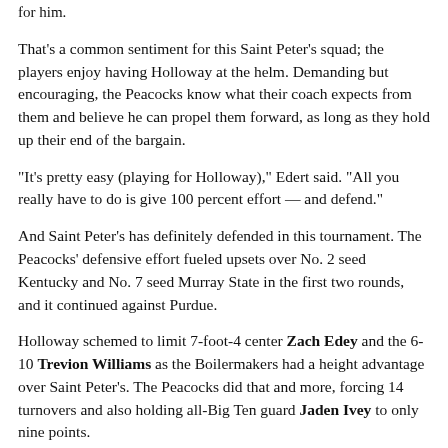for him.
That's a common sentiment for this Saint Peter's squad; the players enjoy having Holloway at the helm. Demanding but encouraging, the Peacocks know what their coach expects from them and believe he can propel them forward, as long as they hold up their end of the bargain.
“It's pretty easy (playing for Holloway),” Edert said. “All you really have to do is give 100 percent effort — and defend.”
And Saint Peter's has definitely defended in this tournament. The Peacocks' defensive effort fueled upsets over No. 2 seed Kentucky and No. 7 seed Murray State in the first two rounds, and it continued against Purdue.
Holloway schemed to limit 7-foot-4 center Zach Edey and the 6-10 Trevion Williams as the Boilermakers had a height advantage over Saint Peter's. The Peacocks did that and more, forcing 14 turnovers and also holding all-Big Ten guard Jaden Ivey to only nine points.
As the defense led to yet another historic win, the Saint Peter's